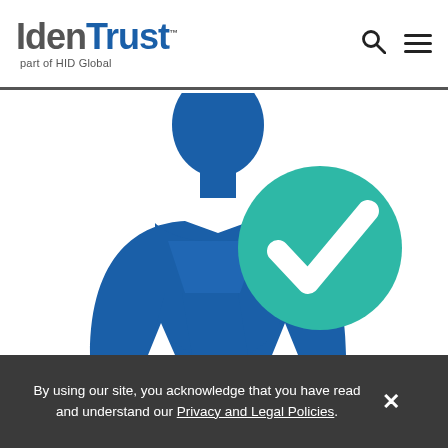IdenTrust part of HID Global
[Figure (illustration): Blue silhouette of a person (bust/torso) holding a decorative ribbon/award, with a teal/green circle containing a white checkmark overlaid on the right side. The illustration represents identity verification or certification.]
By using our site, you acknowledge that you have read and understand our Privacy and Legal Policies.